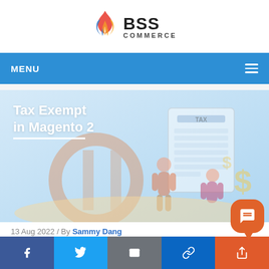[Figure (logo): BSS Commerce logo with flame icon on the left and BSS COMMERCE text on the right]
MENU
[Figure (illustration): Hero banner image for 'Tax Exempt in Magento 2' article showing a Magento logo, tax document, and illustrated characters with dollar signs on a light blue background]
13 Aug 2022 / By Sammy Dang
[Figure (infographic): Social share bar with Facebook, Twitter, Email, Link, and a chat/support button]